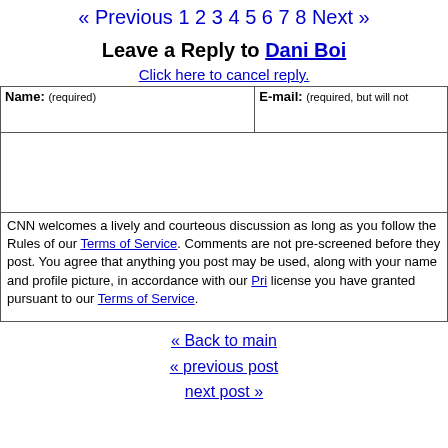« Previous 1 2 3 4 5 6 7 8 Next »
Leave a Reply to Dani Boi
Click here to cancel reply.
| Name: (required) | E-mail: (required, but will not be published) |
| --- | --- |
|  |  |
CNN welcomes a lively and courteous discussion as long as you follow the Rules of our Terms of Service. Comments are not pre-screened before they post. You agree that anything you post may be used, along with your name and profile picture, in accordance with our Privacy Policy and the license you have granted pursuant to our Terms of Service.
« Back to main
« previous post
next post »